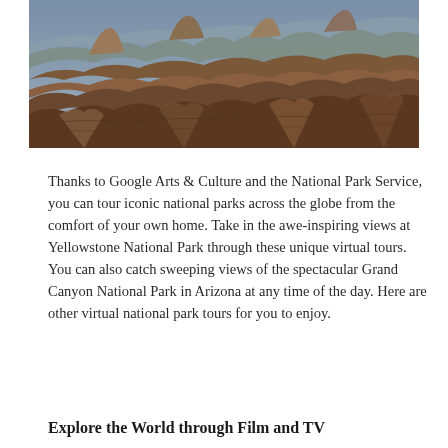[Figure (photo): Aerial/panoramic photograph of the Grand Canyon National Park showing layered red and brown rock formations, buttes, and canyon ridges.]
Thanks to Google Arts & Culture and the National Park Service, you can tour iconic national parks across the globe from the comfort of your own home. Take in the awe-inspiring views at Yellowstone National Park through these unique virtual tours. You can also catch sweeping views of the spectacular Grand Canyon National Park in Arizona at any time of the day. Here are other virtual national park tours for you to enjoy.
Explore the World through Film and TV